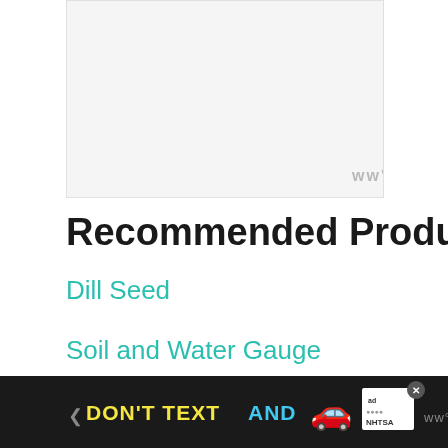[Figure (other): Large advertisement placeholder area with light gray background]
Recommended Products
Dill Seed
Soil and Water Gauge
[Figure (other): Bottom advertisement banner: DON'T TEXT AND [car emoji] with ad badge and NHTSA logo on black background]